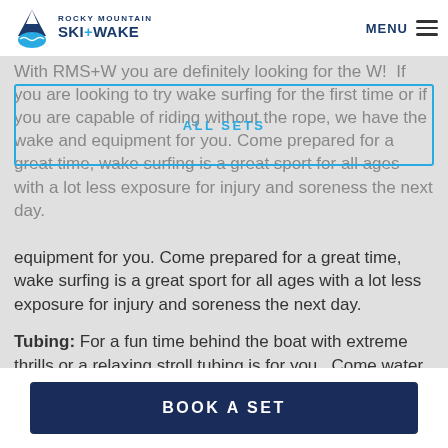Rocky Mountain SKI+WAKE — MENU
With RMS+W you are definitely looking for the W!  If you are looking to try wake surfing for the first time or if you are capable of riding without the rope, we have the wake and equipment for you. Come prepared for a great time, wake surfing is a great sport for all ages with a lot less exposure for injury and soreness the next day.
Tubing: For a fun time behind the boat with extreme thrills or a relaxing stroll tubing is for you.  Come water ready and let our drivers know what kind of ride you are looking for as well as your comfort level in the water.
BOOK A SET